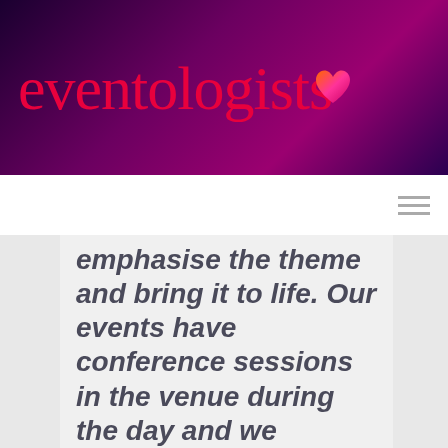[Figure (logo): Eventologists brand logo with pink/red serif wordmark on dark purple-to-magenta gradient background, with a small orange and pink heart icon above the letter 'i']
emphasise the theme and bring it to life. Our events have conference sessions in the venue during the day and we transform them for our awards in the evening and Eventologists always